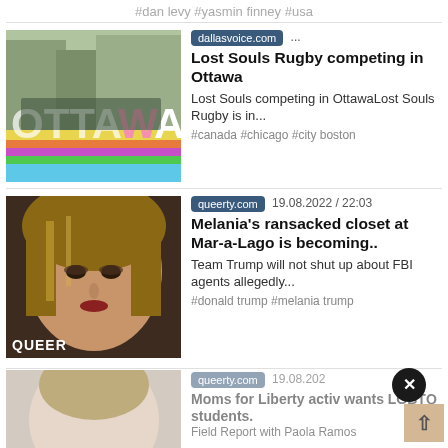#dan levy #yasmin finney #usa
[Figure (photo): Group photo in front of large OTTAWA letters sign with rainbow-colored ground]
dallasvoice.com ...
Lost Souls Rugby competing in Ottawa
Lost Souls competing in OttawaLost Souls Rugby is in...
#canada #chicago #city boston
[Figure (photo): Close-up portrait of Melania Trump with QUEERTY watermark]
queerty.com  19.08.2022 / 22:03
Melania's ransacked closet at Mar-a-Lago is becoming..
Team Trump will not shut up about FBI agents allegedly...
#donald trump #melania trump
[Figure (photo): Partial/faded photo of a woman, third article card]
queerty.com  19.08.2022 / 22:03
Moms for Liberty activ wants LGBTQ students.
Field Report with Paola Ramos